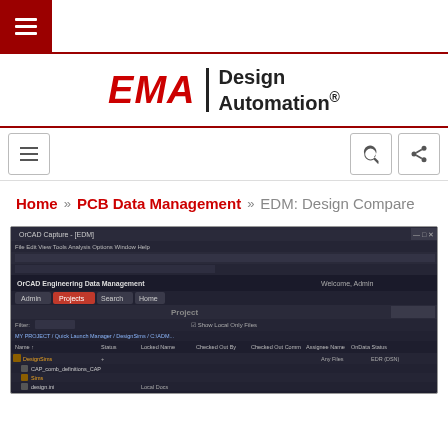EMA Design Automation®
Home » PCB Data Management » EDM: Design Compare
[Figure (screenshot): Screenshot of OrCAD Engineering Data Management software interface showing a project file browser with multiple PCB design files listed in a dark-themed UI.]